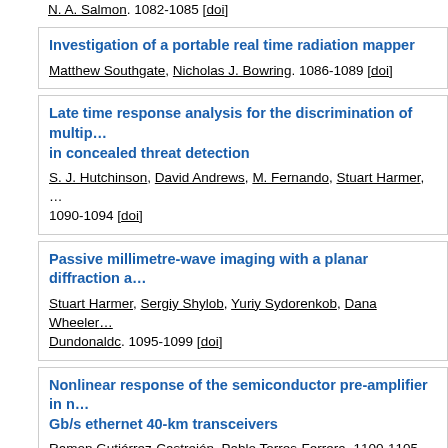N. A. Salmon. 1082-1085 [doi]
Investigation of a portable real time radiation mapper
Matthew Southgate, Nicholas J. Bowring. 1086-1089 [doi]
Late time response analysis for the discrimination of multip... in concealed threat detection
S. J. Hutchinson, David Andrews, M. Fernando, Stuart Harmer, ... 1090-1094 [doi]
Passive millimetre-wave imaging with a planar diffraction a...
Stuart Harmer, Sergiy Shylob, Yuriy Sydorenkob, Dana Wheeler... Dundonaldc. 1095-1099 [doi]
Nonlinear response of the semiconductor pre-amplifier in n... Gb/s ethernet 40-km transceivers
Ramon Gutiérrez-Castrejón, Pablo Torres-Ferrera. 1100-1105 [doi]
Optical amplify-and-forward multihop WDM/FSO for all-opti...